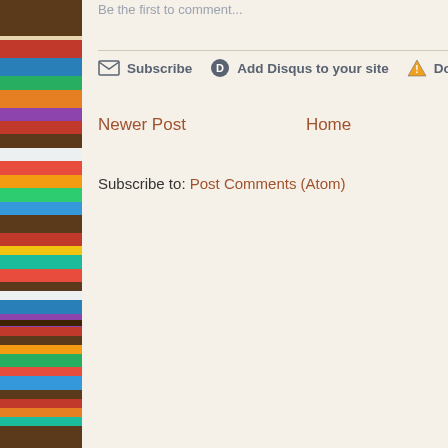[Figure (photo): Bookshelf with colorful books on wooden shelves, positioned on the left side of the page]
Be the first to comment...
Subscribe  Add Disqus to your site  Do Not Sell M
Newer Post
Home
Subscribe to: Post Comments (Atom)